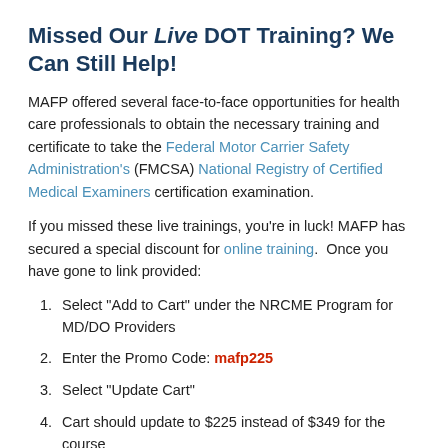Missed Our Live DOT Training? We Can Still Help!
MAFP offered several face-to-face opportunities for health care professionals to obtain the necessary training and certificate to take the Federal Motor Carrier Safety Administration's (FMCSA) National Registry of Certified Medical Examiners certification examination.
If you missed these live trainings, you're in luck! MAFP has secured a special discount for online training.  Once you have gone to link provided:
Select "Add to Cart" under the NRCME Program for MD/DO Providers
Enter the Promo Code: mafp225
Select "Update Cart"
Cart should update to $225 instead of $349 for the course